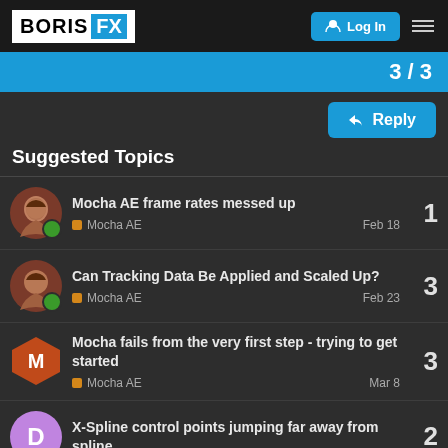BORIS FX — Log In
3 / 3
Reply
Suggested Topics
Mocha AE frame rates messed up — Mocha AE — Feb 18 — 1 reply
Can Tracking Data Be Applied and Scaled Up? — Mocha AE — Feb 23 — 3 replies
Mocha fails from the very first step - trying to get started — Mocha AE — Mar 8 — 3 replies
X-Spline control points jumping far away from spline — 2 replies